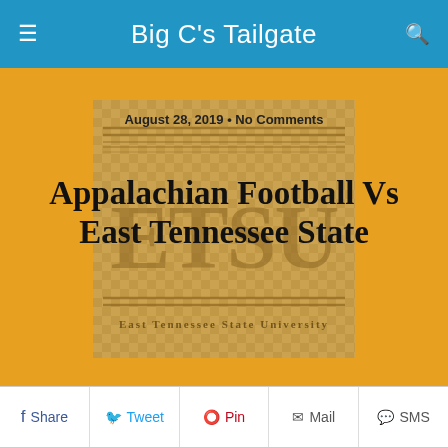Big C's Tailgate
[Figure (illustration): ETSU (East Tennessee State University) logo on a golden checkerboard background with horizontal decorative lines]
August 28, 2019 • No Comments
Appalachian Football Vs East Tennessee State
Share  Tweet  Pin  Mail  SMS
Appalachian State (0-0, 0-0 Sun Belt) vs. East Tennessee (0-0, 0-0 SoCon)
Saturday, August 31st, 2019 3:30pm
TV/Video: ESPN+